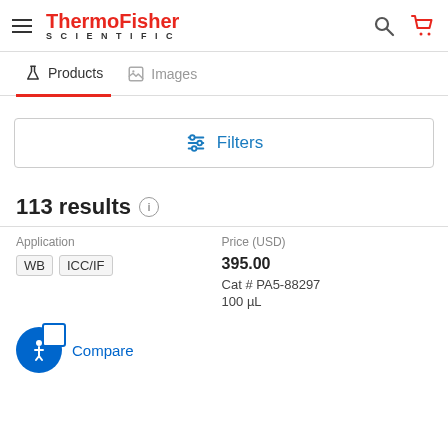ThermoFisher SCIENTIFIC
Products | Images
Filters
113 results
| Application | Price (USD) |
| --- | --- |
| WB   ICC/IF | 395.00
Cat # PA5-88297
100 µL |
Compare